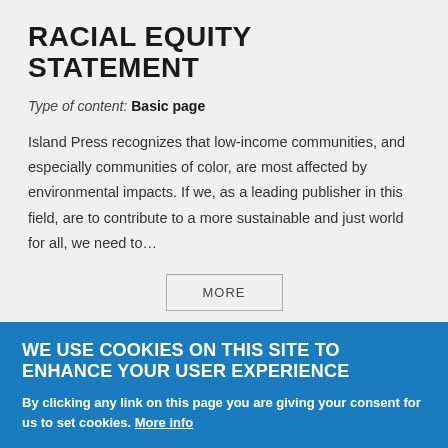RACIAL EQUITY STATEMENT
Type of content: Basic page
Island Press recognizes that low-income communities, and especially communities of color, are most affected by environmental impacts. If we, as a leading publisher in this field, are to contribute to a more sustainable and just world for all, we need to…
MORE
[Figure (photo): Dark/black image bar partially visible in gray section]
WE USE COOKIES ON THIS SITE TO ENHANCE YOUR USER EXPERIENCE
By clicking any link on this page you are giving your consent for us to set cookies. More info